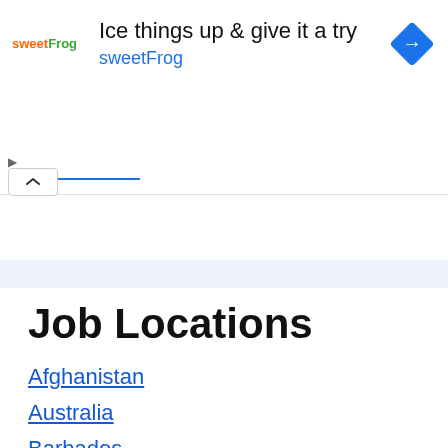[Figure (screenshot): sweetFrog advertisement banner: logo with 'sweetFrog' branding, headline 'Ice things up & give it a try', brand name 'sweetFrog' in blue, and a blue diamond navigation icon on the right]
Job Locations
Afghanistan
Australia
Barbados
Cameroon
Central African Republic
Chad